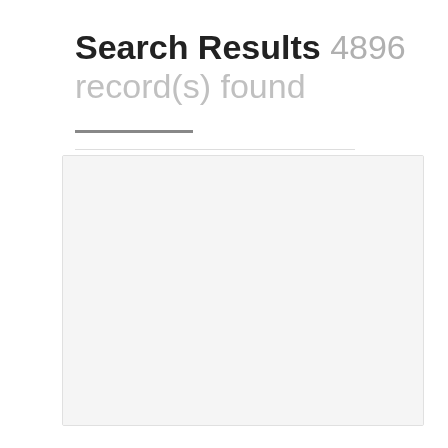Search Results 4896 record(s) found
[Figure (photo): A card element with a light gray image placeholder area on top and a caption area below on a light gray background.]
"Albert. Ruines, trous d'obus" - Albert. Ruins, shellhole